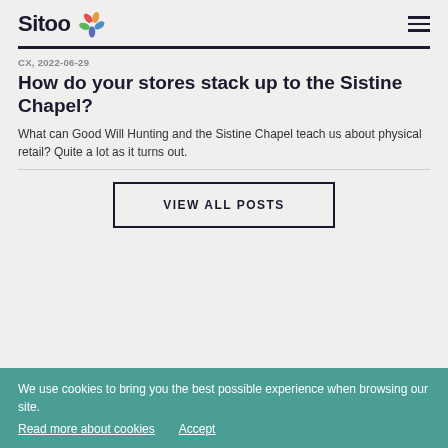Sitoo
CX, 2022-06-29
How do your stores stack up to the Sistine Chapel?
What can Good Will Hunting and the Sistine Chapel teach us about physical retail? Quite a lot as it turns out.
VIEW ALL POSTS
We use cookies to bring you the best possible experience when browsing our site. Read more about cookies  Accept